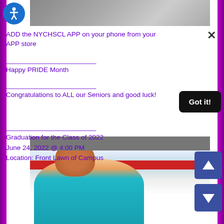[Figure (photo): Top photo showing what appears to be a cafeteria or kitchen area, partially visible]
[Figure (logo): Circular accessibility icon (blue circle with white human figure) in top left corner]
ADD the NYCHSCL APP on your phone from your APP store
________________________
Happy PRIDE Month
________________________
Congratulations to ALL our Seniors and good luck!
Got it!
________________________
Graduation for the Class of 2022
June 24, 2022 @ 4:00 PM
Location: Front Lawn of Campus
[Figure (photo): Bottom section showing a dark gray bar at top, then a photo of a young person smiling wearing a teal/cyan shirt, with navigation up/down arrow buttons on the right side]